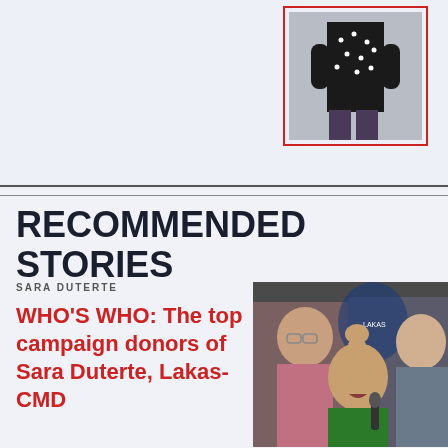[Figure (photo): Partial photo of a person in a black polka-dot outfit with hands on hips, shown from waist down, framed with a red border]
RECOMMENDED STORIES
SARA DUTERTE
WHO'S WHO: The top campaign donors of Sara Duterte, Lakas-CMD
[Figure (photo): Photo of Sara Duterte raising a fist while speaking into a microphone, with other people in background, Lakas-CMD logo visible]